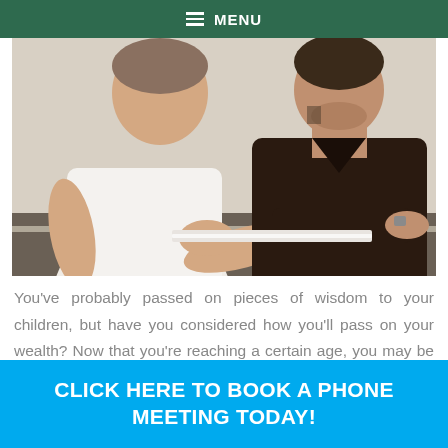≡ MENU
[Figure (photo): Two men sitting at a table together, one in a white t-shirt and one in a dark sweater, viewed from the chest up, appearing to be in discussion or consultation.]
You've probably passed on pieces of wisdom to your children, but have you considered how you'll pass on your wealth? Now that you're reaching a certain age, you may be wondering how you'll pass on family heirlooms, property, or the wealth you've built over many years. Proper legacy planning could
CLICK HERE TO BOOK A PHONE MEETING TODAY!